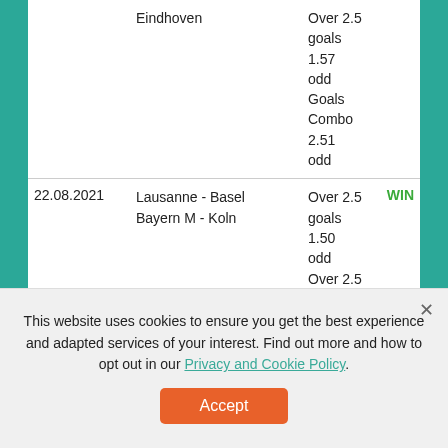| Date | Teams | Bet | Result |
| --- | --- | --- | --- |
|  | Eindhoven | Over 2.5 goals 1.57 odd
Goals Combo 2.51 odd |  |
| 22.08.2021 | Lausanne - Basel
Bayern M - Koln | Over 2.5 goals 1.50 odd
Over 2.5 goals 1.25 odd
Goals Combo 1.88 odd | WIN |
| 21.08.2021 | Freiburg - Dortmund
Regensburg - Schalke | Over 2.5 goals 1.50 odd
Over 2.0 goals 1.40 odd
Goals Combo 2.10 odd | WIN |
This website uses cookies to ensure you get the best experience and adapted services of your interest. Find out more and how to opt out in our Privacy and Cookie Policy.